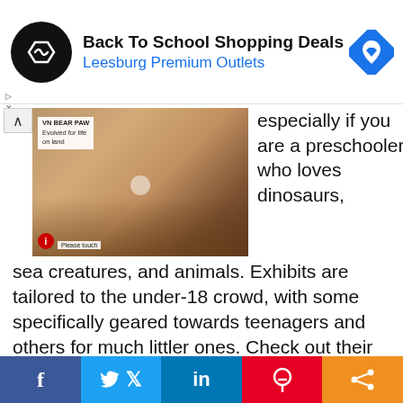[Figure (other): Ad banner: Back To School Shopping Deals at Leesburg Premium Outlets with circular logo and map pin icon]
[Figure (photo): Museum exhibit photo showing hands touching a bear paw fossil display]
especially if you are a preschooler who loves dinosaurs, sea creatures, and animals. Exhibits are tailored to the under-18 crowd, with some specifically geared towards teenagers and others for much littler ones. Check out their “When to Visit” guide, which tells you the Museum’s peak visiting days and hours.
Although the dinosaur exhibit you may h [CLOSE] en in the...
[Figure (infographic): Social share bar with Facebook, Twitter, LinkedIn, Pinterest, and share buttons]